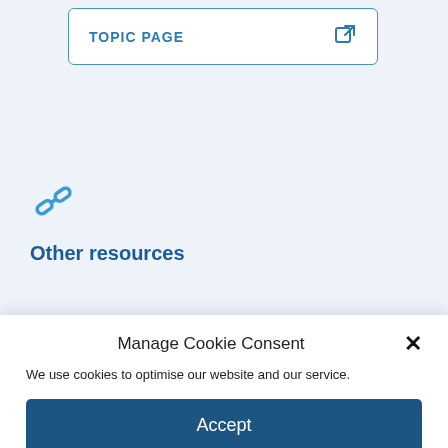[Figure (screenshot): Topic page button with external link icon, light blue border, on light blue background]
Other resources
Manage Cookie Consent
We use cookies to optimise our website and our service.
Accept
Deny
Preferences